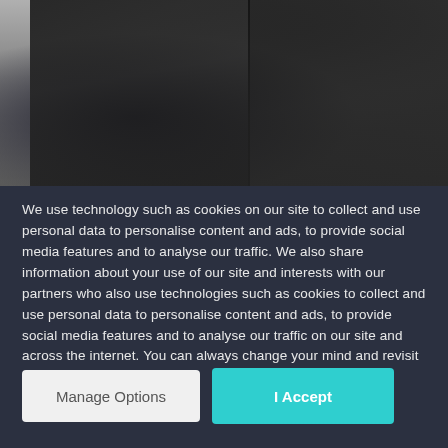[Figure (photo): A photography studio scene showing a woman in a dark blazer jacket being photographed by a tattooed photographer on the right side. Gray background.]
We use technology such as cookies on our site to collect and use personal data to personalise content and ads, to provide social media features and to analyse our traffic. We also share information about your use of our site and interests with our partners who also use technologies such as cookies to collect and use personal data to personalise content and ads, to provide social media features and to analyse our traffic on our site and across the internet. You can always change your mind and revisit your choices.
Manage Options
I Accept